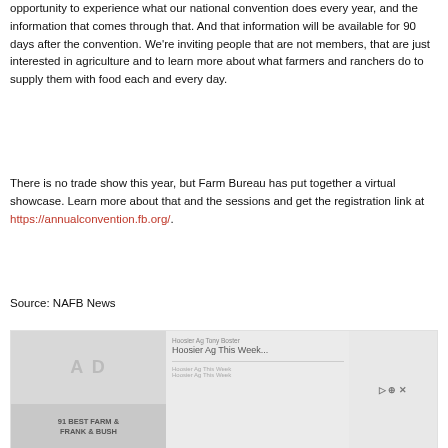opportunity to experience what our national convention does every year, and the information that comes through that. And that information will be available for 90 days after the convention. We're inviting people that are not members, that are just interested in agriculture and to learn more about what farmers and ranchers do to supply them with food each and every day.
There is no trade show this year, but Farm Bureau has put together a virtual showcase. Learn more about that and the sessions and get the registration link at https://annualconvention.fb.org/.
Source: NAFB News
[Figure (screenshot): A screenshot showing related article thumbnails. Left panel shows a faded image with text overlay. Middle panel shows 'Hoosier Ag Tony Boster: Hoosier Ag This Week...' with additional metadata. Right panel shows partially visible icons or controls.]